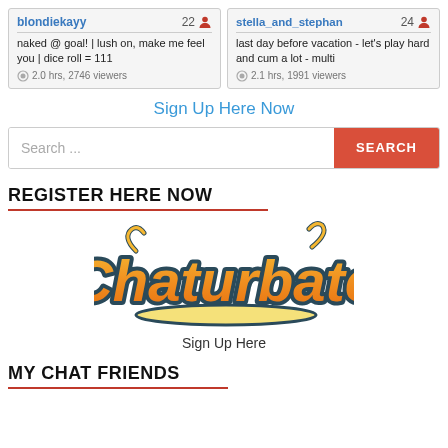[Figure (screenshot): Two chat profile cards side by side. Left card: username 'blondiekayy', age 22, description 'naked @ goal! | lush on, make me feel you | dice roll = 111', 2.0 hrs, 2746 viewers. Right card: username 'stella_and_stephan', age 24, description 'last day before vacation - let's play hard and cum a lot - multi', 2.1 hrs, 1991 viewers.]
Sign Up Here Now
Search...
REGISTER HERE NOW
[Figure (logo): Chaturbate logo - orange cursive text with dark teal outline and underline]
Sign Up Here
MY CHAT FRIENDS